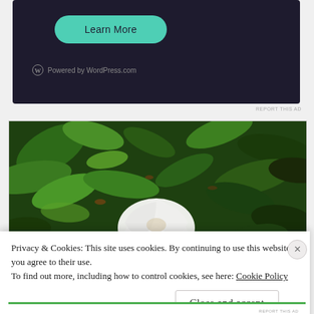[Figure (screenshot): Dark-background advertisement banner with teal 'Learn More' button and WordPress.com logo credit]
REPORT THIS AD
[Figure (photo): Close-up photograph of magnolia leaves and a white magnolia flower bloom, with lush green foliage in the background]
Privacy & Cookies: This site uses cookies. By continuing to use this website, you agree to their use.
To find out more, including how to control cookies, see here: Cookie Policy
Close and accept